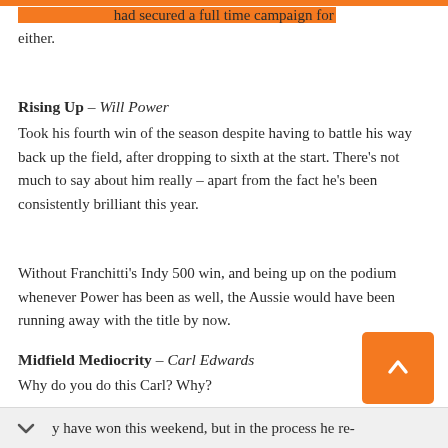…had secured a full time campaign for either.
Rising Up – Will Power
Took his fourth win of the season despite having to battle his way back up the field, after dropping to sixth at the start. There's not much to say about him really – apart from the fact he's been consistently brilliant this year.
Without Franchitti's Indy 500 win, and being up on the podium whenever Power has been as well, the Aussie would have been running away with the title by now.
Midfield Mediocrity – Carl Edwards
Why do you do this Carl? Why?
…y have won this weekend, but in the process he re-